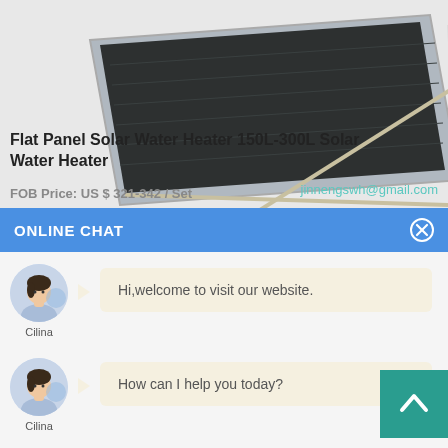[Figure (photo): Flat panel solar water heater mounted on a white metal stand frame, angled view, showing dark collector panel surface]
Flat Panel Solar Water Heater 150L-300L Solar Water Heater
FOB Price: US $ 321-342 / Set
jinnengswh@gmail.com
ONLINE CHAT
[Figure (photo): Avatar of a young woman named Cilina in light blue shirt]
Cilina
Hi,welcome to visit our website.
[Figure (photo): Avatar of a young woman named Cilina in light blue shirt]
Cilina
How can I help you today?